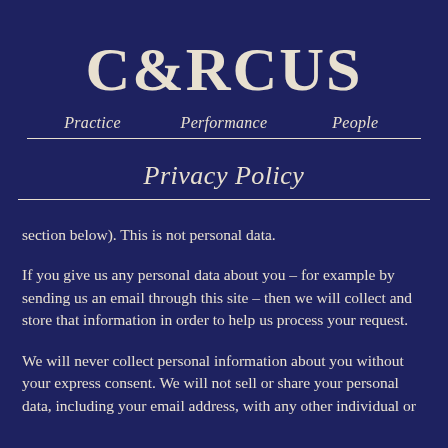CIRCUS
Practice   Performance   People
Privacy Policy
section below). This is not personal data.
If you give us any personal data about you – for example by sending us an email through this site – then we will collect and store that information in order to help us process your request.
We will never collect personal information about you without your express consent. We will not sell or share your personal data, including your email address, with any other individual or